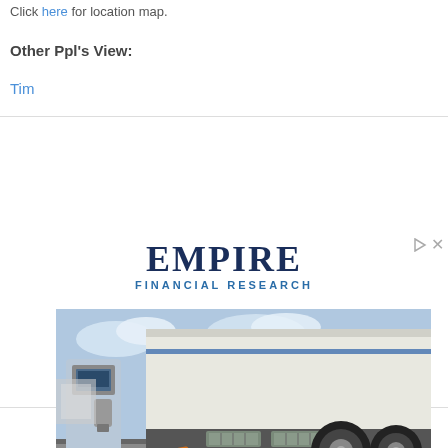Click here for location map.
Other Ppl's View:
Tim
[Figure (photo): Advertisement banner for Empire Financial Research featuring a photo of an electric truck being charged at a charging station, with orange charging cable visible. Logo shows 'EMPIRE FINANCIAL RESEARCH' in navy/blue text. Bottom text reads 'New EV Set to Disrupt' with a 'LEARN MORE' button.]